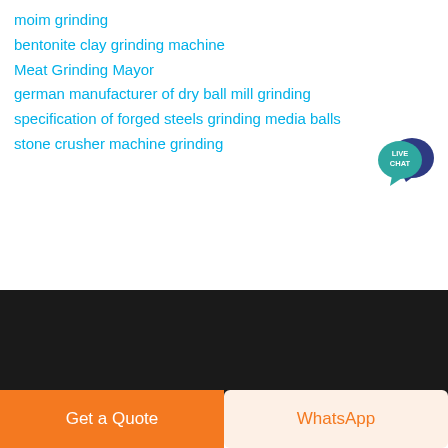moim grinding
bentonite clay grinding machine
Meat Grinding Mayor
german manufacturer of dry ball mill grinding
specification of forged steels grinding media balls
stone crusher machine grinding
[Figure (logo): Live Chat speech bubble icon with 'LIVE CHAT' text in teal/dark blue]
[Figure (logo): LEZO company logo with blue chevron/mountain icon and white LEZO text on dark background]
Get a Quote
WhatsApp